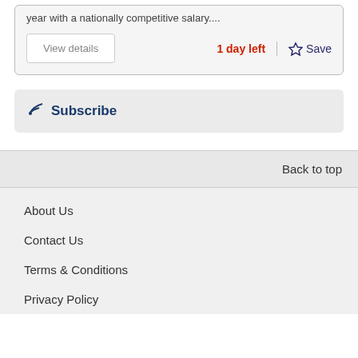year with a nationally competitive salary....
View details
1 day left
Save
Subscribe
Back to top
About Us
Contact Us
Terms & Conditions
Privacy Policy